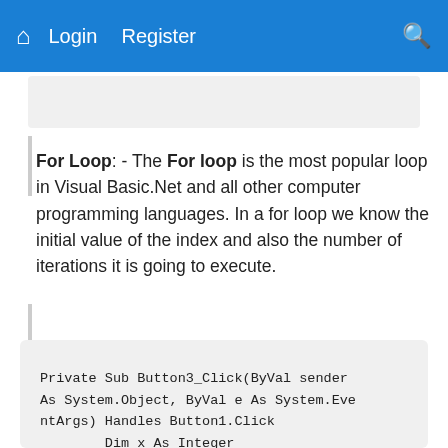Login  Register
For Loop: - The For loop is the most popular loop in Visual Basic.Net and all other computer programming languages. In a for loop we know the initial value of the index and also the number of iterations it is going to execute.
Private Sub Button3_Click(ByVal sender As System.Object, ByVal e As System.EventArgs) Handles Button1.Click
        Dim x As Integer
        For x = 1 To 50
            ListBox1.Items.Add(x)
        Next

    End Sub